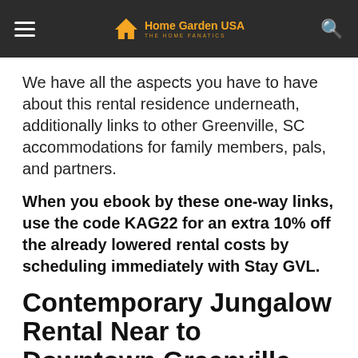Home Garden USA THE HOME FANATICS
We have all the aspects you have to have about this rental residence underneath, additionally links to other Greenville, SC accommodations for family members, pals, and partners.
When you ebook by these one-way links, use the code KAG22 for an extra 10% off the already lowered rental costs by scheduling immediately with Stay GVL.
Contemporary Jungalow Rental Near to Downtown Greenville, SC
The Highlights:
4 bedrooms, 2 bogs